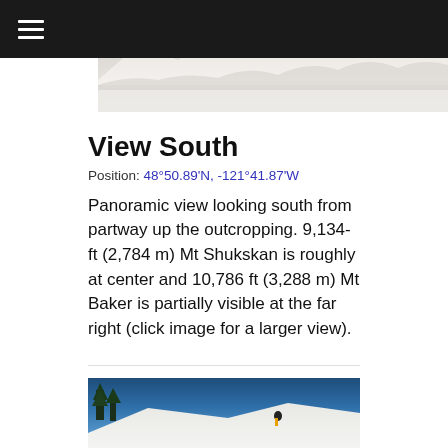[Figure (photo): Panoramic view of snowy mountain terrain looking south, with trees visible along the ridge line.]
View South
Position: 48°50.89'N, -121°41.87'W
Panoramic view looking south from partway up the outcropping. 9,134-ft (2,784 m) Mt Shukskan is roughly at center and 10,786 ft (3,288 m) Mt Baker is partially visible at the far right (click image for a larger view).
[Figure (photo): A skier in a yellow jacket ascending a steep snow-covered slope under a clear blue sky, with snow-covered evergreen trees to the left.]